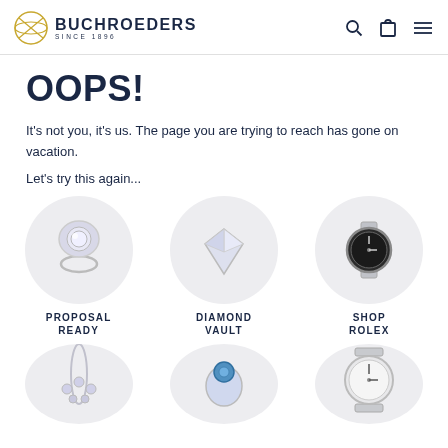BUCHROEDERS SINCE 1896
OOPS!
It's not you, it's us. The page you are trying to reach has gone on vacation.
Let's try this again...
[Figure (photo): Diamond engagement ring on circular gray background, labeled PROPOSAL READY]
[Figure (photo): Diamond on circular gray background, labeled DIAMOND VAULT]
[Figure (photo): Rolex Submariner watch on circular gray background, labeled SHOP ROLEX]
[Figure (photo): Diamond necklace on circular gray background, partially cropped]
[Figure (photo): Blue gemstone ring on circular gray background, partially cropped]
[Figure (photo): Cartier watch on circular gray background, partially cropped]